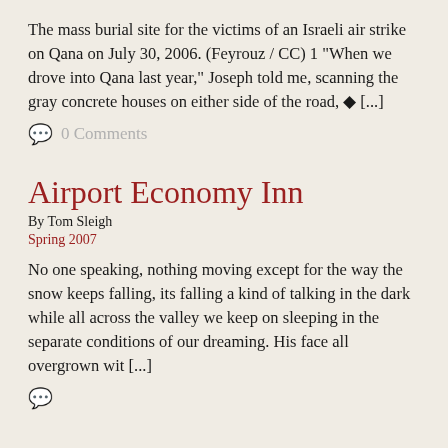The mass burial site for the victims of an Israeli air strike on Qana on July 30, 2006. (Feyrouz / CC) 1 “When we drove into Qana last year,” Joseph told me, scanning the gray concrete houses on either side of the road, � [...]
0 Comments
Airport Economy Inn
By Tom Sleigh
Spring 2007
No one speaking, nothing moving except for the way the snow keeps falling, its falling a kind of talking in the dark while all across the valley we keep on sleeping in the separate conditions of our dreaming. His face all overgrown wit [...]
0 Comments